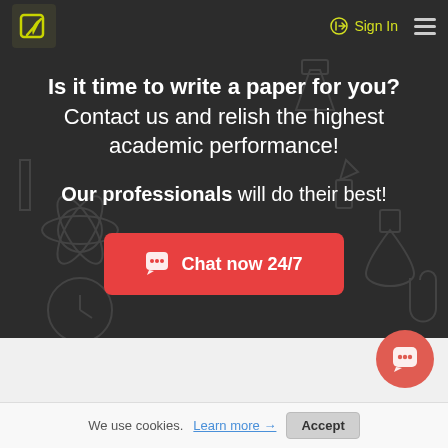[Figure (logo): Green leaf writing pen logo icon on dark square background]
Sign In
Is it time to write a paper for you? Contact us and relish the highest academic performance!
Our professionals will do their best!
[Figure (other): Red Chat now 24/7 button with chat bubble icon]
[Figure (other): Coral circular chat support button in bottom right]
We use cookies. Learn more → Accept